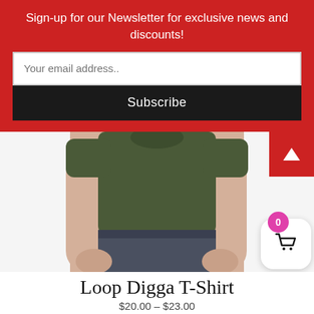Sign-up for our Newsletter for exclusive news and discounts!
Your email address..
Subscribe
[Figure (photo): Man wearing olive green t-shirt and dark jeans, cropped to show torso and arms]
Loop Digga T-Shirt
$20.00 – $23.00